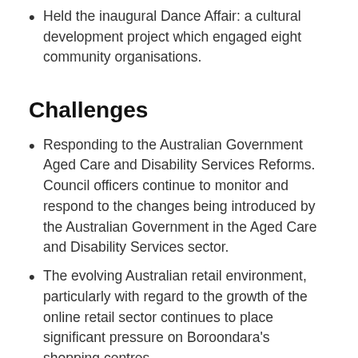Held the inaugural Dance Affair: a cultural development project which engaged eight community organisations.
Challenges
Responding to the Australian Government Aged Care and Disability Services Reforms. Council officers continue to monitor and respond to the changes being introduced by the Australian Government in the Aged Care and Disability Services sector.
The evolving Australian retail environment, particularly with regard to the growth of the online retail sector continues to place significant pressure on Boroondara's shopping centres.